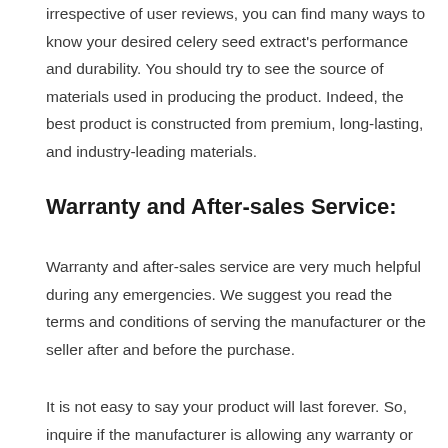irrespective of user reviews, you can find many ways to know your desired celery seed extract's performance and durability. You should try to see the source of materials used in producing the product. Indeed, the best product is constructed from premium, long-lasting, and industry-leading materials.
Warranty and After-sales Service:
Warranty and after-sales service are very much helpful during any emergencies. We suggest you read the terms and conditions of serving the manufacturer or the seller after and before the purchase.
It is not easy to say your product will last forever. So, inquire if the manufacturer is allowing any warranty or after-sale services upon the purchase. Some products may require repairing services which the manufacturer may allow sometimes. In this case, you may check the user reviews about the manufacturer's after-sales service.